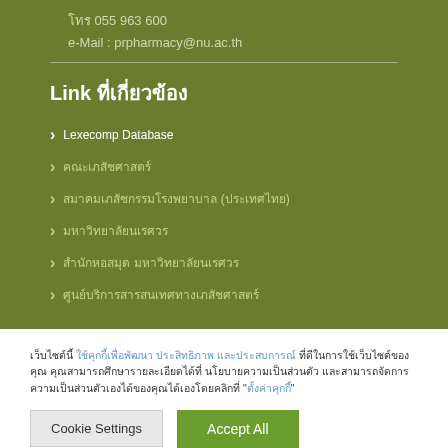โทร 055 963 600
e-Mail : prpharmacy@nu.ac.th
Link ที่เกี่ยวข้อง
Lexecomp Database
คณะเภสัชศาสตร์
สมาคมเภสัชกรรมโรงพยาบาล (ประเทศไทย)
มหาวิทยาลัยนเรศวร
สำนักหอสมุด มหาวิทยาลัยนเรศวร
ศูนย์บริการสารสนเทศทางเภสัชศาสตร์
เว็บไซต์นี้ ใช้คุกกี้เพื่อพัฒนา ประสิทธิภาพ และประสบการณ์ที่ดีในการใช้เว็บไซต์ของคุณ คุณสามารถศึกษารายละเอียดได้ที่ นโยบายความเป็นส่วนตัว และสามารถจัดการความเป็นส่วนตัวเองได้ของคุณได้เองโดยคลิกที่ "ตั้งค่าคุกกี้"